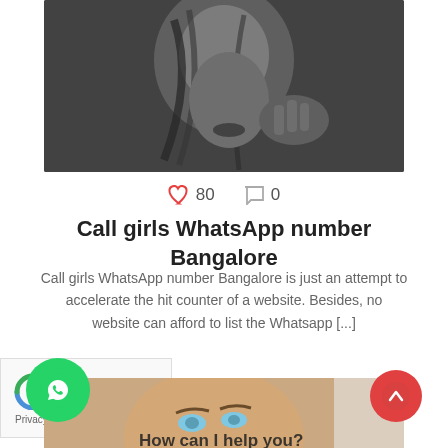[Figure (photo): Black and white photo of a woman with dark hair, hand near shoulder, looking downward]
♥ 80   ◯ 0
Call girls WhatsApp number Bangalore
Call girls WhatsApp number Bangalore is just an attempt to accelerate the hit counter of a website. Besides, no website can afford to list the Whatsapp [...]
[Figure (photo): reCAPTCHA widget with Privacy label]
[Figure (photo): Color photo of a blonde woman with blue eyes and makeup, with 'How can I help you?' text overlay]
[Figure (other): Green WhatsApp floating button]
[Figure (other): Red scroll-to-top floating button]